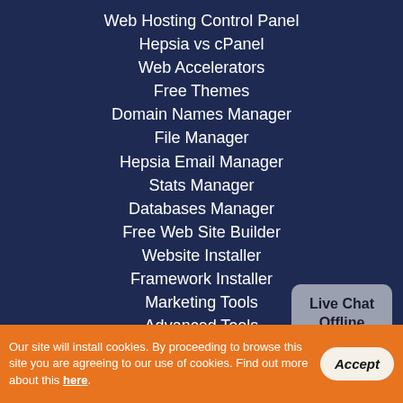Web Hosting Control Panel
Hepsia vs cPanel
Web Accelerators
Free Themes
Domain Names Manager
File Manager
Hepsia Email Manager
Stats Manager
Databases Manager
Free Web Site Builder
Website Installer
Framework Installer
Marketing Tools
Advanced Tools
Support
[Figure (other): Live Chat Offline button/widget with grey rounded rectangle and speech bubble tail]
Our site will install cookies. By proceeding to browse this site you are agreeing to our use of cookies. Find out more about this here.